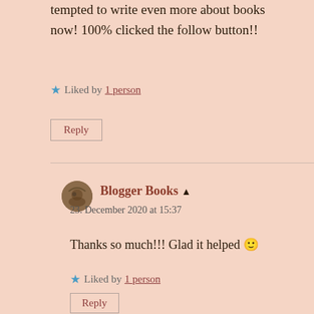tempted to write even more about books now! 100% clicked the follow button!!
★ Liked by 1 person
Reply
Blogger Books 🧑 author
23. December 2020 at 15:37
Thanks so much!!! Glad it helped 🙂
★ Liked by 1 person
Reply